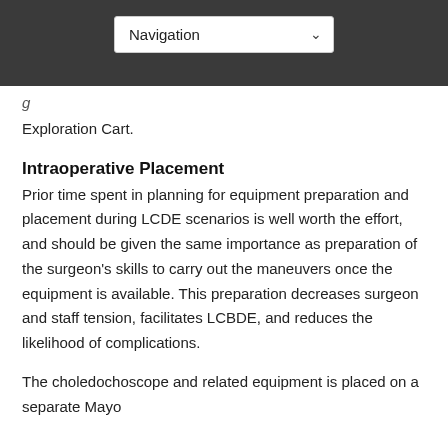Navigation
Exploration Cart.
Intraoperative Placement
Prior time spent in planning for equipment preparation and placement during LCDE scenarios is well worth the effort, and should be given the same importance as preparation of the surgeon's skills to carry out the maneuvers once the equipment is available. This preparation decreases surgeon and staff tension, facilitates LCBDE, and reduces the likelihood of complications.
The choledochoscope and related equipment is placed on a separate Mayo